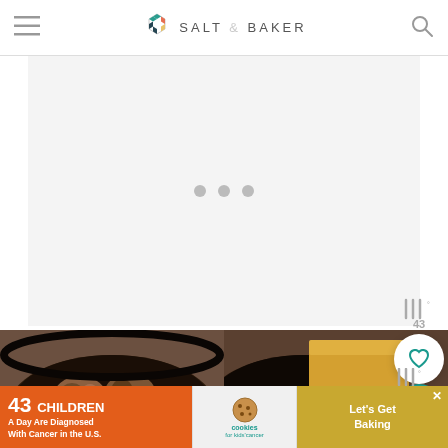SALT & BAKER
[Figure (screenshot): Loading placeholder with three grey dots indicating ad content loading]
[Figure (photo): Two food photos side by side: left shows browned meatballs in a dark skillet, right shows sliced cheese/butter in a dark pan]
[Figure (infographic): Advertisement banner: '43 CHILDREN A Day Are Diagnosed With Cancer in the U.S.' with cookies for kids' cancer logo and 'Let's Get Baking' CTA]